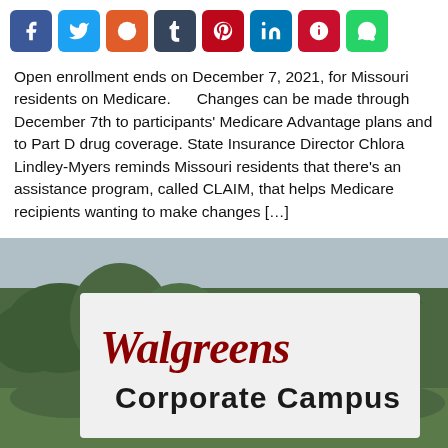[Figure (other): Social media share buttons: Facebook, Twitter, Reddit, Tumblr, Pinterest, LinkedIn, Parler, WhatsApp]
Open enrollment ends on December 7, 2021, for Missouri residents on Medicare.      Changes can be made through December 7th to participants' Medicare Advantage plans and to Part D drug coverage. State Insurance Director Chlora Lindley-Myers reminds Missouri residents that there's an assistance program, called CLAIM, that helps Medicare recipients wanting to make changes […]
[Figure (photo): Walgreens Corporate Campus sign with trees in background]